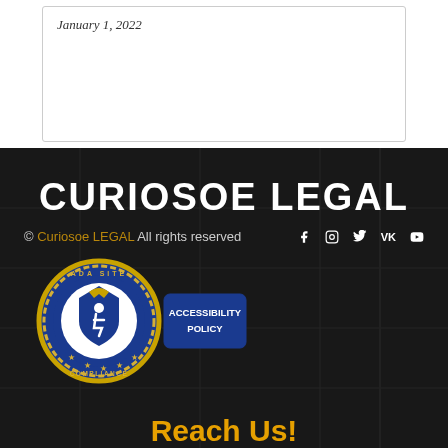January 1, 2022
CURIOSOE LEGAL
© Curiosoe LEGAL All rights reserved
[Figure (logo): ADA Site Compliance badge with accessibility policy label]
Reach Us!